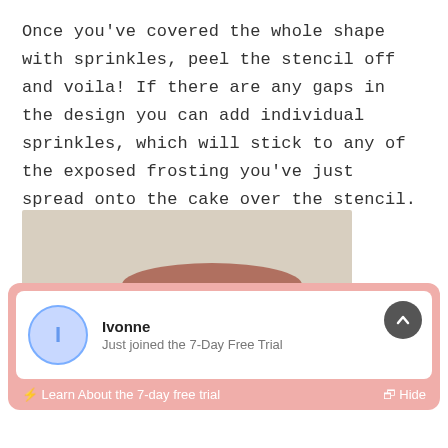Once you've covered the whole shape with sprinkles, peel the stencil off and voila! If there are any gaps in the design you can add individual sprinkles, which will stick to any of the exposed frosting you've just spread onto the cake over the stencil.
[Figure (photo): A hand peeling a stencil off a round chocolate frosted cake on a white plate, revealing a Christmas tree made of green and gold sprinkles on the side of the cake.]
Ivonne
Just joined the 7-Day Free Trial
⚡ Learn About the 7-day free trial    [↗ Hide